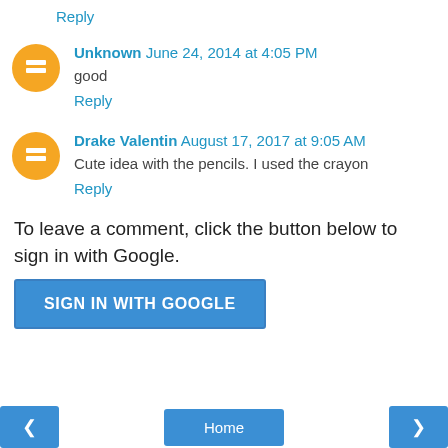Reply
Unknown June 24, 2014 at 4:05 PM
good
Reply
Drake Valentin August 17, 2017 at 9:05 AM
Cute idea with the pencils. I used the crayon
Reply
To leave a comment, click the button below to sign in with Google.
SIGN IN WITH GOOGLE
Home